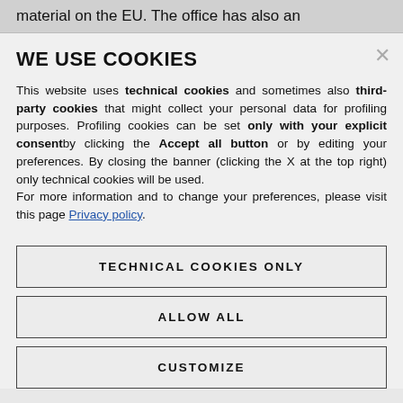material on the EU. The office has also an
WE USE COOKIES
This website uses technical cookies and sometimes also third-party cookies that might collect your personal data for profiling purposes. Profiling cookies can be set only with your explicit consent by clicking the Accept all button or by editing your preferences. By closing the banner (clicking the X at the top right) only technical cookies will be used. For more information and to change your preferences, please visit this page Privacy policy.
TECHNICAL COOKIES ONLY
ALLOW ALL
CUSTOMIZE